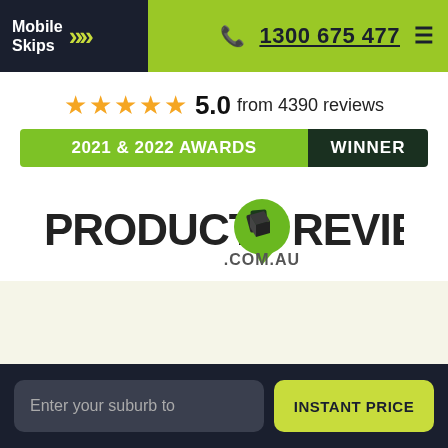[Figure (logo): Mobile Skips logo with double chevron arrows in yellow-green on dark navy background, header with phone number 1300 675 477 on green background]
★★★★★ 5.0  from 4390 reviews
[Figure (infographic): Green banner reading '2021 & 2022 AWARDS' with dark green section reading 'WINNER']
[Figure (logo): Product Review .com.au logo with green speech bubble icon containing a dark cube]
[Figure (screenshot): Light cream/beige empty section]
Enter your suburb to
INSTANT PRICE